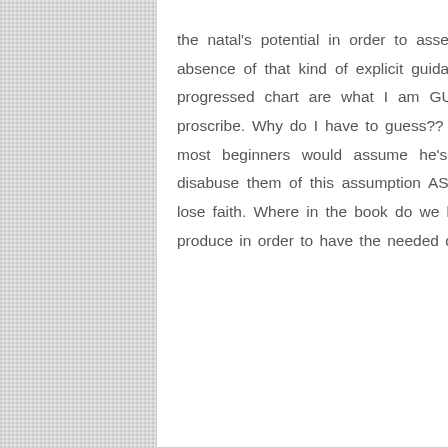the natal's potential in order to assess current conditions. In the absence of that kind of explicit guidance, however, transits to the progressed chart are what I am GUESSING Townley would proscribe. Why do I have to guess?? Transit to the Natal are what most beginners would assume he's describing, and he should disabuse them of this assumption ASAP lest they waste time and lose faith. Where in the book do we learn what chart alignment to produce in order to have the needed data to read this book from?